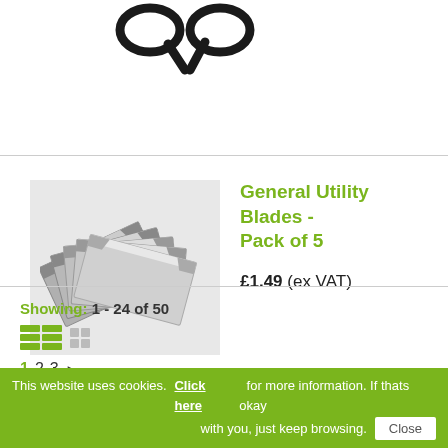[Figure (photo): Partial image of black scissors visible at top of page, cropped]
[Figure (photo): Stack of silver utility/box cutter blades fanned out, shown on light grey background]
General Utility Blades - Pack of 5
£1.49 (ex VAT)
Showing: 1 - 24 of 50
1 2 3 ▶
This website uses cookies. Click here for more information. If thats okay with you, just keep browsing. Close